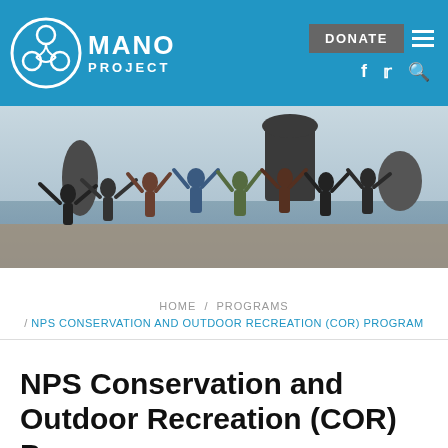MANO PROJECT
[Figure (photo): Group of people jumping joyfully on a beach with rocky sea stacks in the background]
HOME / PROGRAMS / NPS CONSERVATION AND OUTDOOR RECREATION (COR) PROGRAM
NPS Conservation and Outdoor Recreation (COR) Program